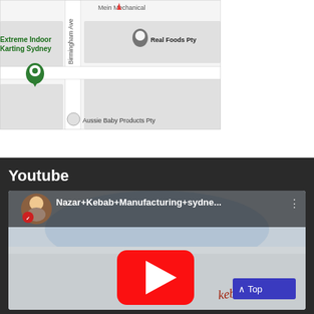[Figure (map): Google Maps screenshot showing Birmingham Ave area in Sydney with location pins for Real Foods Pty, Extreme Indoor Karting Sydney, and Aussie Baby Products Pty]
Youtube
[Figure (screenshot): YouTube video thumbnail showing 'Nazar+Kebab+Manufacturing+sydne...' with a white van and YouTube play button overlay, channel avatar of a child holding food]